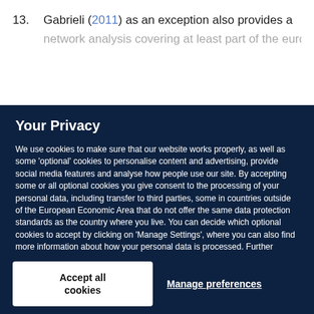13. Gabrieli (2011) as an exception also provides a network analysis covering at least part of the euro…
Your Privacy
We use cookies to make sure that our website works properly, as well as some 'optional' cookies to personalise content and advertising, provide social media features and analyse how people use our site. By accepting some or all optional cookies you give consent to the processing of your personal data, including transfer to third parties, some in countries outside of the European Economic Area that do not offer the same data protection standards as the country where you live. You can decide which optional cookies to accept by clicking on 'Manage Settings', where you can also find more information about how your personal data is processed. Further information can be found in our privacy policy.